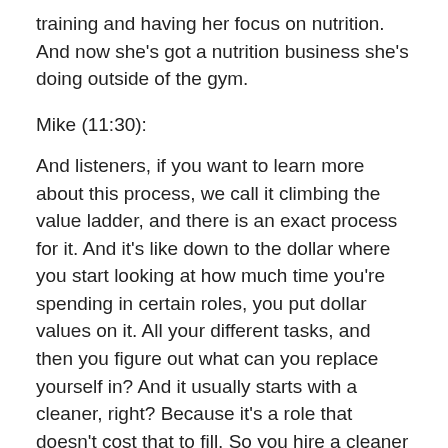training and having her focus on nutrition. And now she's got a nutrition business she's doing outside of the gym.
Mike (11:30):
And listeners, if you want to learn more about this process, we call it climbing the value ladder, and there is an exact process for it. And it's like down to the dollar where you start looking at how much time you're spending in certain roles, you put dollar values on it. All your different tasks, and then you figure out what can you replace yourself in? And it usually starts with a cleaner, right? Because it's a role that doesn't cost that to fill. So you hire a cleaner for 12 or 15 bucks, and you get your four hours a week back or whatever you use those four hours to do something better, which is maybe take some sales calls, maybe take some